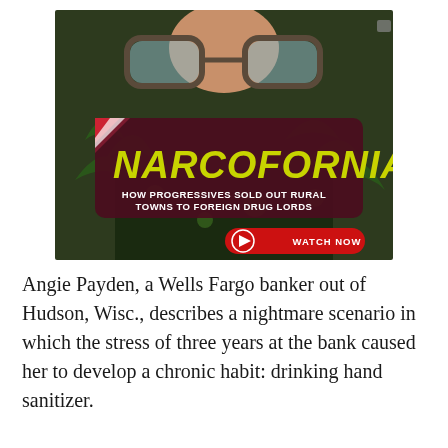[Figure (screenshot): Screenshot of 'Narcofornia' documentary/video thumbnail. Shows a person wearing sunglasses and a floral shirt with cannabis leaves, with a dark maroon banner overlay reading 'NARCOFORNIA' in large yellow-green bold letters, subtitle 'HOW PROGRESSIVES SOLD OUT RURAL TOWNS TO FOREIGN DRUG LORDS', and a red 'WATCH NOW' button with play icon.]
Angie Payden, a Wells Fargo banker out of Hudson, Wisc., describes a nightmare scenario in which the stress of three years at the bank caused her to develop a chronic habit: drinking hand sanitizer.